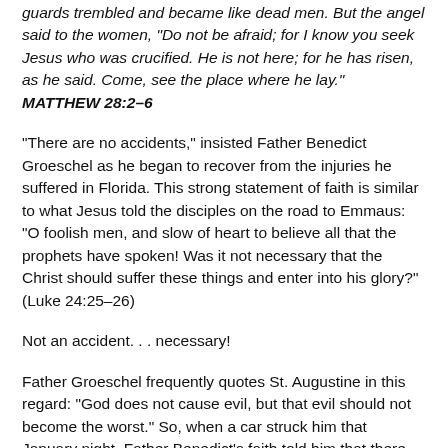guards trembled and became like dead men. But the angel said to the women, "Do not be afraid; for I know you seek Jesus who was crucified. He is not here; for he has risen, as he said. Come, see the place where he lay." MATTHEW 28:2–6
"There are no accidents," insisted Father Benedict Groeschel as he began to recover from the injuries he suffered in Florida. This strong statement of faith is similar to what Jesus told the disciples on the road to Emmaus: "O foolish men, and slow of heart to believe all that the prophets have spoken! Was it not necessary that the Christ should suffer these things and enter into his glory?" (Luke 24:25–26)
Not an accident. . . necessary!
Father Groeschel frequently quotes St. Augustine in this regard: "God does not cause evil, but that evil should not become the worst." So, when a car struck him that January night, Father Benedict's faith told him that there was a reason for this cross, a reason that ultimately God would reveal in time. This is the power of the cross for the follower